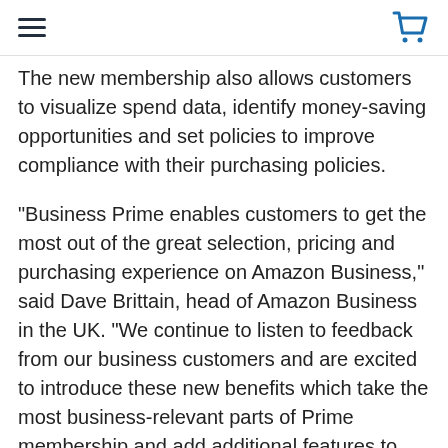[hamburger menu] [cart icon]
The new membership also allows customers to visualize spend data, identify money-saving opportunities and set policies to improve compliance with their purchasing policies.
“Business Prime enables customers to get the most out of the great selection, pricing and purchasing experience on Amazon Business,” said Dave Brittain, head of Amazon Business in the UK. “We continue to listen to feedback from our business customers and are excited to introduce these new benefits which take the most business-relevant parts of Prime membership and add additional features to make life easier for organisations of all shapes and sizes. Our goal is to help businesses drive even more transparency into their procurement process, while ultimately lowering their total cost of purchasing.”